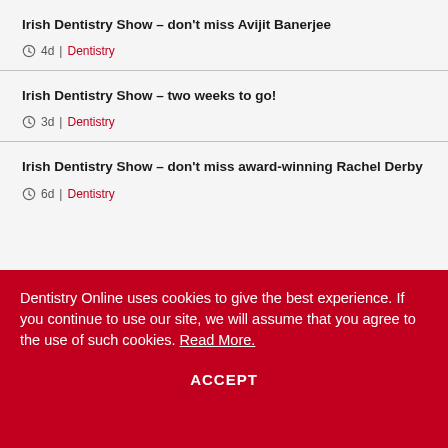Irish Dentistry Show – don't miss Avijit Banerjee
4d | Dentistry
Irish Dentistry Show – two weeks to go!
3d | Dentistry
Irish Dentistry Show – don't miss award-winning Rachel Derby
6d | Dentistry
Dentistry Online uses cookies to give the best experience. If you continue to use our site, we will assume that you agree to the use of such cookies. Read More.
ACCEPT